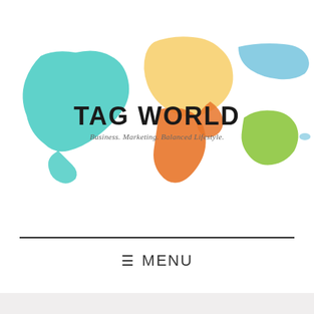[Figure (logo): Tag World website logo with colorful world map continent silhouettes in teal, yellow, orange, blue, and green surrounding the text TAG WORLD with subtitle Business. Marketing. Balanced Lifestyle.]
TAG WORLD
Business. Marketing. Balanced Lifestyle.
≡ MENU